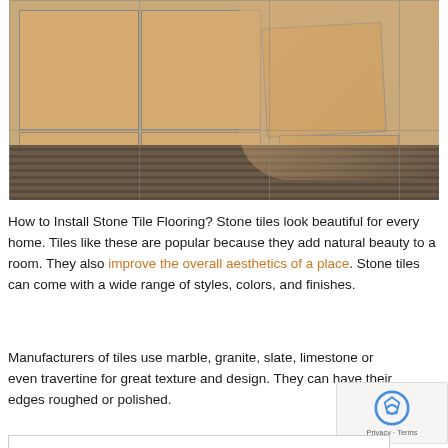[Figure (photo): Person laying stone ceramic floor tiles on adhesive/mortar, pressing tiles into place with both hands. The tiles are tan/beige colored and the mortar has ridged texture from a notched trowel.]
How to Install Stone Tile Flooring? Stone tiles look beautiful for every home. Tiles like these are popular because they add natural beauty to a room. They also improve the overall aesthetics of a place. Stone tiles can come with a wide range of styles, colors, and finishes.
Manufacturers of tiles use marble, granite, slate, limestone or even travertine for great texture and design. They can have their edges roughed or polished.
[Figure (other): reCAPTCHA logo box with Privacy and Terms links]